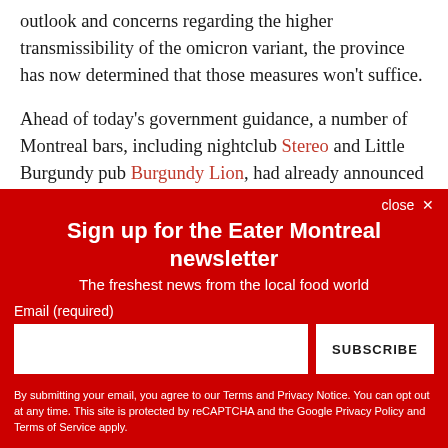outlook and concerns regarding the higher transmissibility of the omicron variant, the province has now determined that those measures won't suffice.
Ahead of today's government guidance, a number of Montreal bars, including nightclub Stereo and Little Burgundy pub Burgundy Lion, had already announced their temporary closure and suspension of bar-style...
[Figure (screenshot): Newsletter signup overlay with red background. Title: 'Sign up for the Eater Montreal newsletter'. Subtitle: 'The freshest news from the local food world'. Email input field and SUBSCRIBE button. Disclaimer text about Terms and Privacy Notice.]